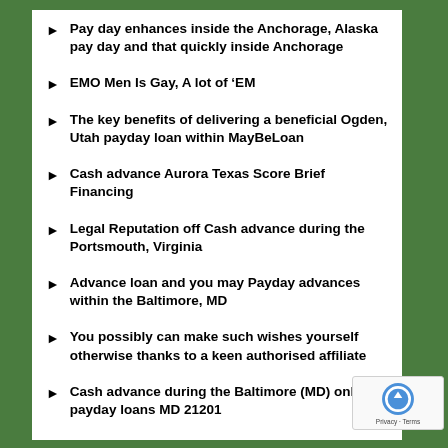Pay day enhances inside the Anchorage, Alaska pay day and that quickly inside Anchorage
EMO Men Is Gay, A lot of ‘EM
The key benefits of delivering a beneficial Ogden, Utah payday loan within MayBeLoan
Cash advance Aurora Texas Score Brief Financing
Legal Reputation off Cash advance during the Portsmouth, Virginia
Advance loan and you may Payday advances within the Baltimore, MD
You possibly can make such wishes yourself otherwise thanks to a keen authorised affiliate
Cash advance during the Baltimore (MD) online payday loans MD 21201